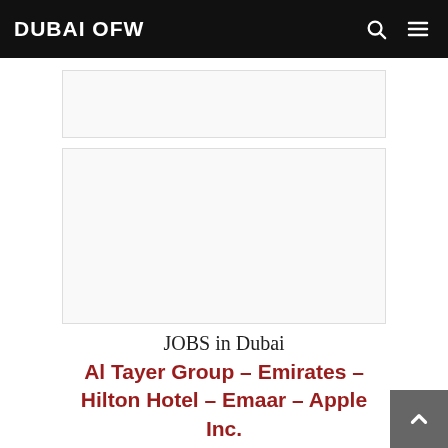DUBAI OFW
JOBS in Dubai
Al Tayer Group – Emirates – Hilton Hotel – Emaar – Apple Inc. – Chalhoub Group – Marriott – Al Futtaim Group – Jumeirah Group – Hyatt Hotel – Damac Properties – Du Telecom – Madinat Badr